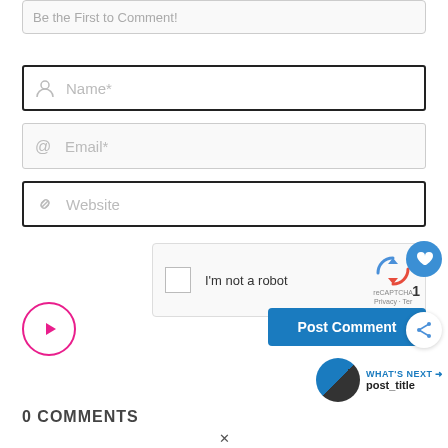[Figure (screenshot): Truncated comment textarea at the top of a comment form]
[Figure (screenshot): Name input field with person icon]
[Figure (screenshot): Email input field with @ icon]
[Figure (screenshot): Website input field with link icon]
[Figure (screenshot): reCAPTCHA widget with checkbox and I'm not a robot label]
[Figure (screenshot): Heart like floating button showing count 1]
[Figure (screenshot): Share floating button]
[Figure (screenshot): Pink play button circle]
[Figure (screenshot): Post Comment blue button]
[Figure (screenshot): What's Next section with circular image and post_title]
0 COMMENTS